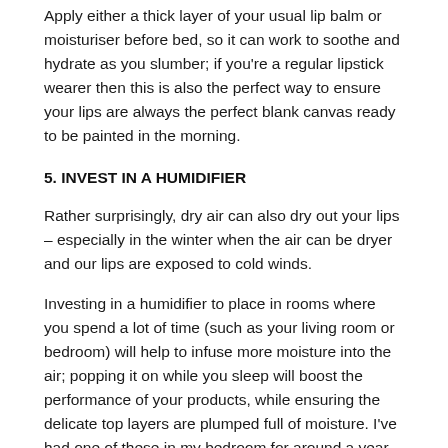Apply either a thick layer of your usual lip balm or moisturiser before bed, so it can work to soothe and hydrate as you slumber; if you're a regular lipstick wearer then this is also the perfect way to ensure your lips are always the perfect blank canvas ready to be painted in the morning.
5. INVEST IN A HUMIDIFIER
Rather surprisingly, dry air can also dry out your lips – especially in the winter when the air can be dryer and our lips are exposed to cold winds.
Investing in a humidifier to place in rooms where you spend a lot of time (such as your living room or bedroom) will help to infuse more moisture into the air; popping it on while you sleep will boost the performance of your products, while ensuring the delicate top layers are plumped full of moisture. I've had one of these in my bedroom for around a year and it's definitely helped prevent dryness and left my skin